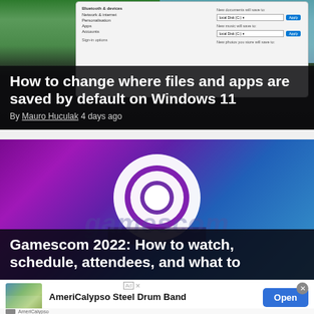[Figure (screenshot): Article card showing Windows 11 settings screenshot with green landscape background. Title overlay: 'How to change where files and apps are saved by default on Windows 11'. By Mauro Huculak, 4 days ago.]
How to change where files and apps are saved by default on Windows 11
By Mauro Huculak 4 days ago
[Figure (screenshot): Article card for Gamescom 2022, showing purple-to-blue gradient background with large white concentric circles logo. Title overlay: 'Gamescom 2022: How to watch, schedule, attendees, and what to' (truncated). Watermark text 'gamescom' visible.]
Gamescom 2022: How to watch, schedule, attendees, and what to
[Figure (infographic): Advertisement banner for AmeriCalypso Steel Drum Band with thumbnail image of people, ad label, Open button, and close button.]
AmeriCalypso Steel Drum Band